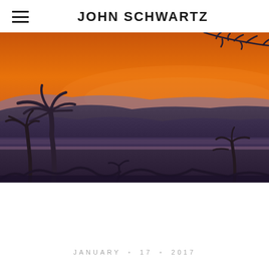JOHN SCHWARTZ
[Figure (photo): Sunset landscape photograph showing layered mountain silhouettes against a vivid orange and amber sky, with tropical tree/palm silhouettes in the foreground and a bare branch in the upper right corner]
JANUARY  •  17  •  2017